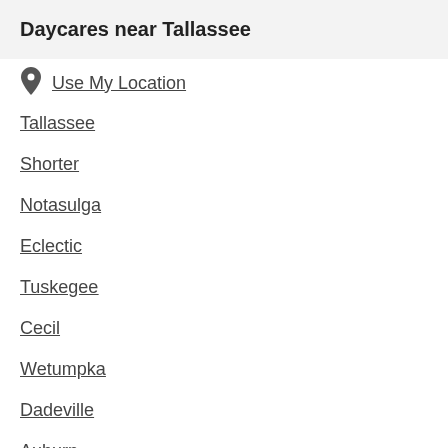Daycares near Tallassee
Use My Location
Tallassee
Shorter
Notasulga
Eclectic
Tuskegee
Cecil
Wetumpka
Dadeville
Auburn
Montgomery